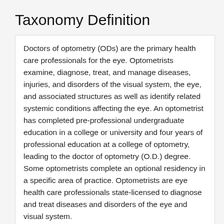Taxonomy Definition
Doctors of optometry (ODs) are the primary health care professionals for the eye. Optometrists examine, diagnose, treat, and manage diseases, injuries, and disorders of the visual system, the eye, and associated structures as well as identify related systemic conditions affecting the eye. An optometrist has completed pre-professional undergraduate education in a college or university and four years of professional education at a college of optometry, leading to the doctor of optometry (O.D.) degree. Some optometrists complete an optional residency in a specific area of practice. Optometrists are eye health care professionals state-licensed to diagnose and treat diseases and disorders of the eye and visual system.
Notes: Source: American Optometric Association (AOA), approved by the AOA's Board of Trustees, June 21, 2005. [7/1/2006: definition modified]
Providers in the same taxonomy